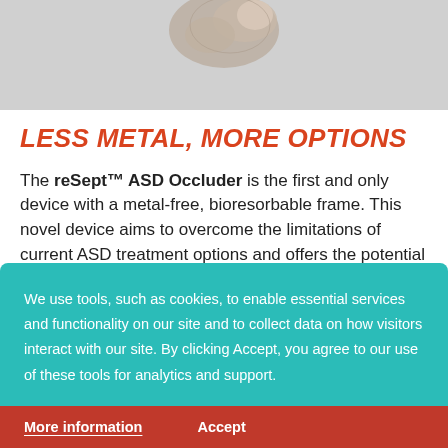[Figure (photo): 3D rendered bone/medical device image on grey background, partially visible at top of page]
LESS METAL, MORE OPTIONS
The reSept™ ASD Occluder is the first and only device with a metal-free, bioresorbable frame. This novel device aims to overcome the limitations of current ASD treatment options and offers the potential to:
Help reduce the risk of complications due to long-term
We use tools, such as cookies, to enable essential services and functionality on our site and to collect data on how visitors interact with our site. By clicking Accept, you agree to our use of these tools for analytics and support.